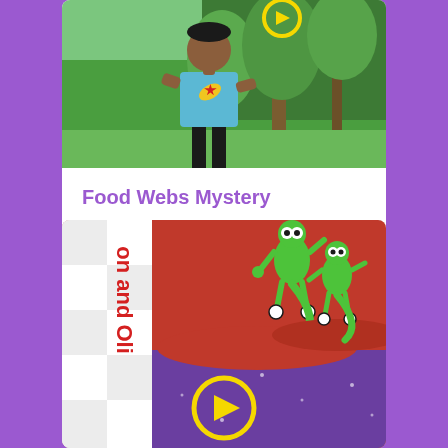[Figure (illustration): Cartoon illustration of a boy in a blue t-shirt with a banana and star logo, standing in a temperate forest. A yellow circle with a play button is visible in the upper area.]
Food Webs Mystery
6:18
Frank is a bullfrog who lives near a large temperate forest. He loves to chomp on grasshoppers and worms, but hasn't seen any around in days and he is...
[Figure (illustration): Cartoon illustration showing two green lizard/gecko characters on a red and purple background. Text 'on and Oli' visible on left side. Yellow play button circle at bottom center.]